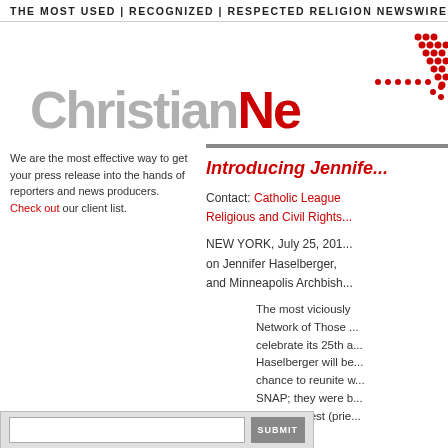THE MOST USED | RECOGNIZED | RESPECTED RELIGION NEWSWIRE
[Figure (logo): ChristianNewswire logo with red dot cluster graphic in the top right and large text 'ChristianNe...' (Christian in gray, Ne in red)]
We are the most effective way to get your press release into the hands of reporters and news producers. Check out our client list.
Introducing Jennifer...
Contact: Catholic League Religious and Civil Rights...
NEW YORK, July 25, 201... on Jennifer Haselberger, and Minneapolis Archbish...
The most viciously... Network of Those ... celebrate its 25th a... Haselberger will be... chance to reunite w... SNAP; they were b... Rent-A-Priest (prie...